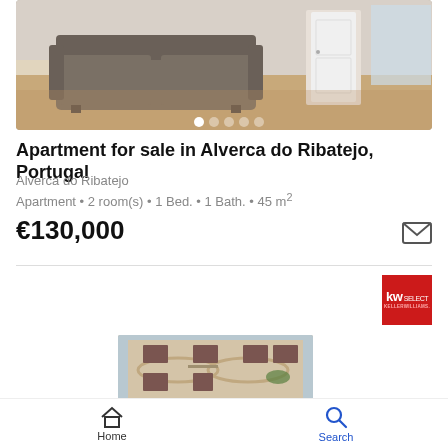[Figure (photo): Interior photo of an apartment living room with a grey sofa on wooden floor, open door visible in background]
Apartment for sale in Alverca do Ribatejo, Portugal
Alverca do Ribatejo
Apartment • 2 room(s) • 1 Bed. • 1 Bath. • 45 m²
€130,000
[Figure (logo): KW SELECT Keller Williams red logo]
[Figure (photo): Exterior photo of apartment building facade]
Home   Search